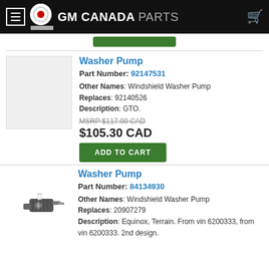GM CANADA PARTS
Washer Pump
Part Number: 92147531
Other Names: Windshield Washer Pump
Replaces: 92140526
Description: GTO.
MSRP $117.00 CAD
$105.30 CAD
Washer Pump
Part Number: 84134930
Other Names: Windshield Washer Pump
Replaces: 20907279
Description: Equinox, Terrain. From vin 6200333, from vin 6200333. 2nd design.